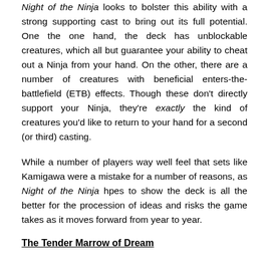Night of the Ninja looks to bolster this ability with a strong supporting cast to bring out its full potential. One the one hand, the deck has unblockable creatures, which all but guarantee your ability to cheat out a Ninja from your hand. On the other, there are a number of creatures with beneficial enters-the-battlefield (ETB) effects. Though these don't directly support your Ninja, they're exactly the kind of creatures you'd like to return to your hand for a second (or third) casting.
While a number of players way well feel that sets like Kamigawa were a mistake for a number of reasons, as Night of the Ninja hpes to show the deck is all the better for the procession of ideas and risks the game takes as it moves forward from year to year.
The Tender Marrow of Dream